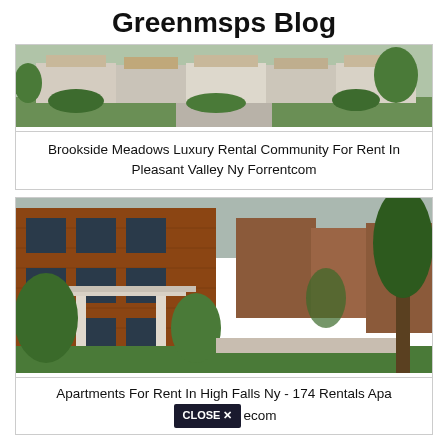Greenmsps Blog
[Figure (photo): Exterior view of Brookside Meadows luxury rental community with townhomes and landscaping]
Brookside Meadows Luxury Rental Community For Rent In Pleasant Valley Ny Forrentcom
[Figure (photo): Exterior view of brick apartment buildings with walkway and trees]
Apartments For Rent In High Falls Ny - 174 Rentals Apartments.com